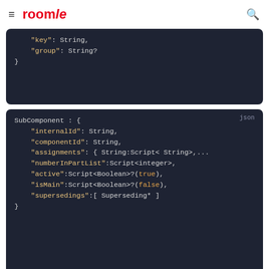roomle (logo and hamburger menu)
"key": String,
    "group": String?
}
SubComponent : {
    "internalId": String,
    "componentId": String,
    "assignments": { String:Script< String>,...
    "numberInPartList":Script<integer>,
    "active":Script<Boolean>?(true),
    "isMain":Script<Boolean>?(false),
    "supersedings":[ Superseding* ]
}
PossibleChild : [